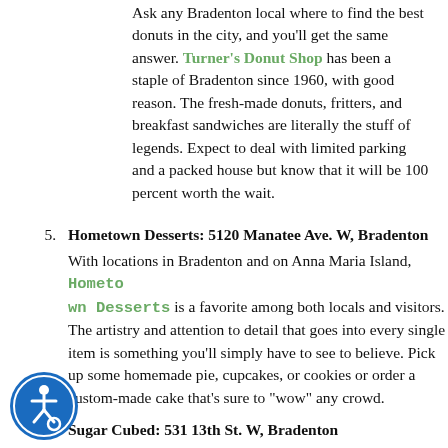Ask any Bradenton local where to find the best donuts in the city, and you'll get the same answer. Turner's Donut Shop has been a staple of Bradenton since 1960, with good reason. The fresh-made donuts, fritters, and breakfast sandwiches are literally the stuff of legends. Expect to deal with limited parking and a packed house but know that it will be 100 percent worth the wait.
5. Hometown Desserts: 5120 Manatee Ave. W, Bradenton — With locations in Bradenton and on Anna Maria Island, Hometown Desserts is a favorite among both locals and visitors. The artistry and attention to detail that goes into every single item is something you'll simply have to see to believe. Pick up some homemade pie, cupcakes, or cookies or order a custom-made cake that's sure to "wow" any crowd.
6. Sugar Cubed: 531 13th St. W, Bradenton — For a modern twist on traditional baked goods, you can't go wrong with a visit to Sugar Cubed. A self-proclaimed "pastry lab," this shop prides itself on baking innovation. Here you'll find deliciously surprising menu items like blueberry ginger muffins, butterbeer cupcakes, and salted caramel pretzel brownies. Of course, you can also find traditional favorites including chocolate-covered strawberries, key lime pie, and fresh-made cinnamon buns. No matter what you're craving, they do a great job...